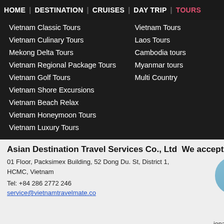HOME | DESTINATION | CRUISES | DAY TRIP | TOURS
Vietnam Classic Tours
Vietnam Culinary Tours
Mekong Delta Tours
Vietnam Regional Package Tours
Vietnam Golf Tours
Vietnam Shore Excursions
Vietnam Beach Relax
Vietnam Honeymoon Tours
Vietnam Luxury Tours
Vietnam Tours
Laos Tours
Cambodia tours
Myanmar tours
Multi Country
Asian Destination Travel Services Co., Ltd  We accept pa
01 Floor, Packsimex Building, 52 Dong Du. St, District 1, HCMC, Vietnam
Tel: +84 286 2772 246
service@vietnamtravelmate.co
[Figure (infographic): Blue speech bubble button labeled 'Contact Our Travel Consultant' with a tail pointing downward, partially visible text 'ional Tr' and '2013 As']